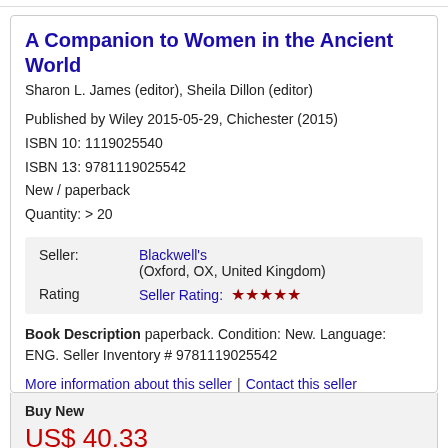A Companion to Women in the Ancient World
Sharon L. James (editor), Sheila Dillon (editor)
Published by Wiley 2015-05-29, Chichester (2015)
ISBN 10: 1119025540
ISBN 13: 9781119025542
New / paperback
Quantity: > 20
| Label | Value |
| --- | --- |
| Seller: | Blackwell's (Oxford, OX, United Kingdom) |
| Rating | Seller Rating: ★★★★★ |
Book Description paperback. Condition: New. Language: ENG. Seller Inventory # 9781119025542
More information about this seller | Contact this seller
Buy New
US$ 40.33
Convert currency